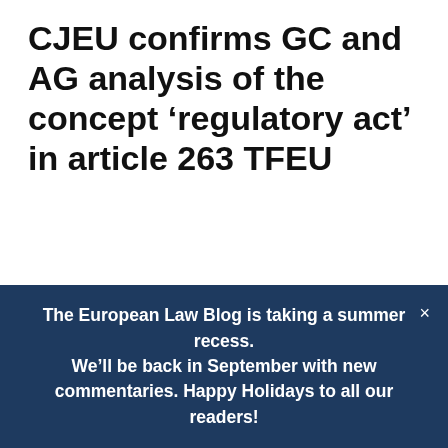CJEU confirms GC and AG analysis of the concept ‘regulatory act’ in article 263 TFEU
3 OCTOBER 2013 / BY LAURENS ANKERSMIT / 5
The Grand Chamber today dismissed the appeal by the seal hunters to annul the basic regulation prohibiting the marketing of seal products on the EU internal market. As expected, the CJEU held that the
The European Law Blog is taking a summer recess. We’ll be back in September with new commentaries. Happy Holidays to all our readers!